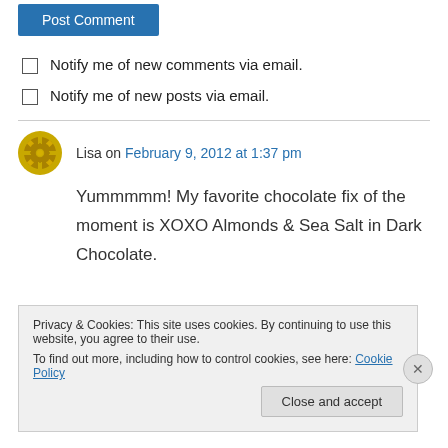Post Comment
Notify me of new comments via email.
Notify me of new posts via email.
Lisa on February 9, 2012 at 1:37 pm
Yummmmm! My favorite chocolate fix of the moment is XOXO Almonds & Sea Salt in Dark Chocolate.
Privacy & Cookies: This site uses cookies. By continuing to use this website, you agree to their use. To find out more, including how to control cookies, see here: Cookie Policy
Close and accept